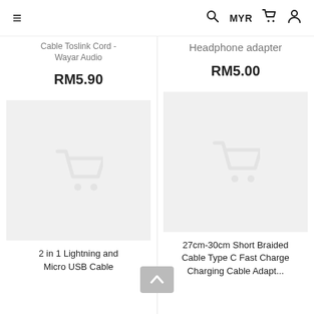≡  Q  MYR  🛒  👤
Cable Toslink Cord - Wayar Audio
RM5.90
Headphone adapter
RM5.00
[Figure (illustration): Product placeholder image with shopping cart icon, light grey background]
2 in 1 Lightning and Micro USB Cable
[Figure (illustration): Product placeholder image with shopping cart icon, light grey background]
27cm-30cm Short Braided Cable Type C Fast Charge Charging Cable Adapt...